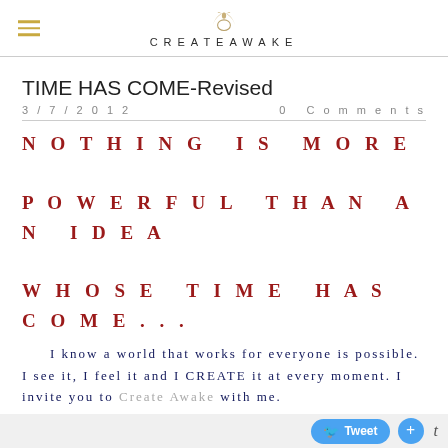CREATEAWAKE
TIME HAS COME-Revised
3/7/2012   0 Comments
NOTHING IS MORE POWERFUL THAN AN IDEA WHOSE TIME HAS COME...
I know a world that works for everyone is possible. I see it, I feel it and I CREATE it at every moment. I invite you to Create Awake with me.